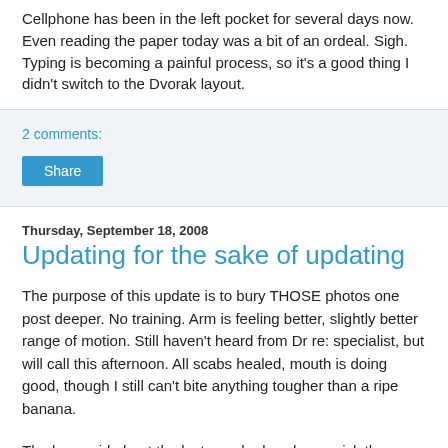Cellphone has been in the left pocket for several days now. Even reading the paper today was a bit of an ordeal. Sigh. Typing is becoming a painful process, so it's a good thing I didn't switch to the Dvorak layout.
2 comments:
Share
Thursday, September 18, 2008
Updating for the sake of updating
The purpose of this update is to bury THOSE photos one post deeper. No training. Arm is feeling better, slightly better range of motion. Still haven't heard from Dr re: specialist, but will call this afternoon. All scabs healed, mouth is doing good, though I still can't bite anything tougher than a ripe banana.
The less said about the last couple days home sick the better.